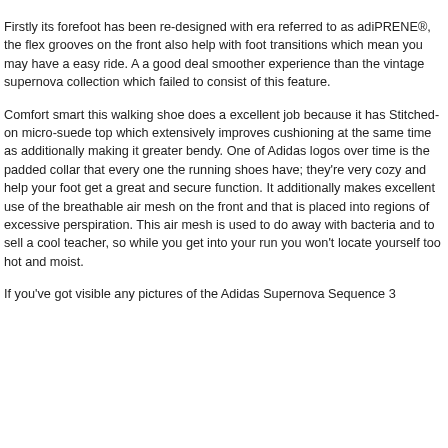Firstly its forefoot has been re-designed with era referred to as adiPRENE®, the flex grooves on the front also help with foot transitions which mean you may have a easy ride. A a good deal smoother experience than the vintage supernova collection which failed to consist of this feature.
Comfort smart this walking shoe does a excellent job because it has Stitched-on micro-suede top which extensively improves cushioning at the same time as additionally making it greater bendy. One of Adidas logos over time is the padded collar that every one the running shoes have; they're very cozy and help your foot get a great and secure function. It additionally makes excellent use of the breathable air mesh on the front and that is placed into regions of excessive perspiration. This air mesh is used to do away with bacteria and to sell a cool teacher, so while you get into your run you won't locate yourself too hot and moist.
If you've got visible any pictures of the Adidas Supernova Sequence 3